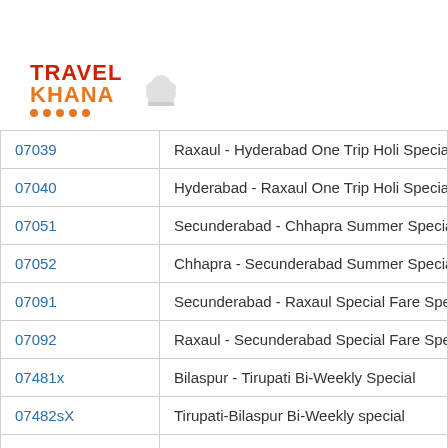[Figure (logo): Travel Khana logo with chef hat icon, red TRAVEL text, orange KHANA text, and orange dots underline]
| Train No. | Train Name |
| --- | --- |
| 07039 | Raxaul - Hyderabad One Trip Holi Special |
| 07040 | Hyderabad - Raxaul One Trip Holi Special |
| 07051 | Secunderabad - Chhapra Summer Special Fa |
| 07052 | Chhapra - Secunderabad Summer Special Fa |
| 07091 | Secunderabad - Raxaul Special Fare Special |
| 07092 | Raxaul - Secunderabad Special Fare Special |
| 07481x | Bilaspur - Tirupati Bi-Weekly Special |
| 07482sX | Tirupati-Bilaspur Bi-Weekly special |
| 08050 | Rajkot Santragachi (Weekly) Winter Special |
| 08059 | Mumbai LTT - Santragachi (Weekly) AC SF P |